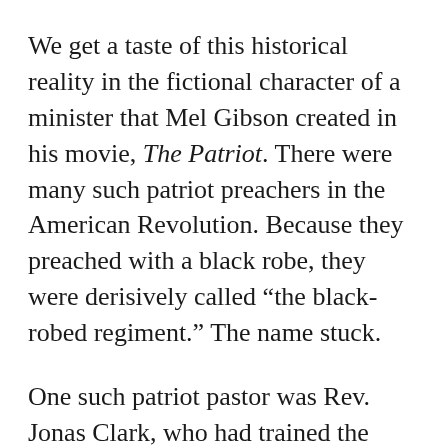We get a taste of this historical reality in the fictional character of a minister that Mel Gibson created in his movie, The Patriot. There were many such patriot preachers in the American Revolution. Because they preached with a black robe, they were derisively called “the black-robed regiment.” The name stuck.
One such patriot pastor was Rev. Jonas Clark, who had trained the men in his church in Lexington to be ready for such an incident.
In the wee hours of the morning of April 19, 1775, when the British regulars were